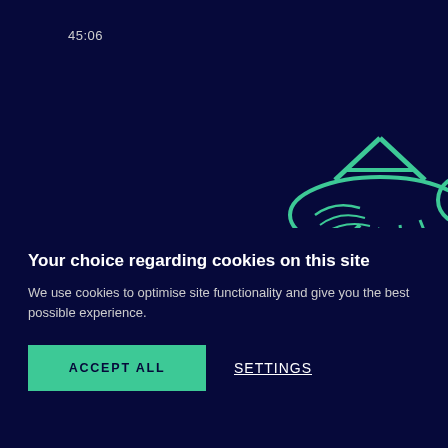[Figure (screenshot): Video thumbnail showing a green grasshopper/cricket logo on dark navy background with '45:06' duration and 'WATCH NOW' button. Partial second video card visible on right edge showing '42' duration badge and a photo.]
45:06
WATCH NOW
42
British Prime Ministers from Attlee to Blair
Professor Vernon Bogdanor FBA CBE
Portu
Profes
Your choice regarding cookies on this site
We use cookies to optimise site functionality and give you the best possible experience.
ACCEPT ALL
SETTINGS